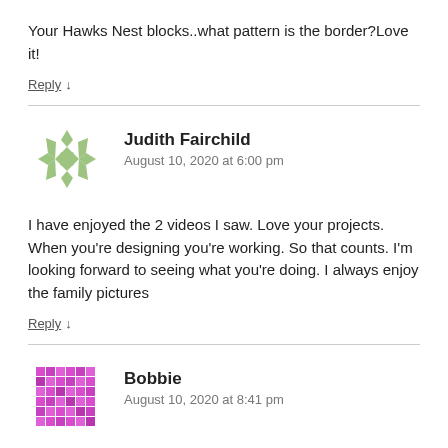Your Hawks Nest blocks..what pattern is the border?Love it!
Reply ↓
Judith Fairchild
August 10, 2020 at 6:00 pm
I have enjoyed the 2 videos I saw. Love your projects. When you're designing you're working. So that counts. I'm looking forward to seeing what you're doing. I always enjoy the family pictures
Reply ↓
Bobbie
August 10, 2020 at 8:41 pm